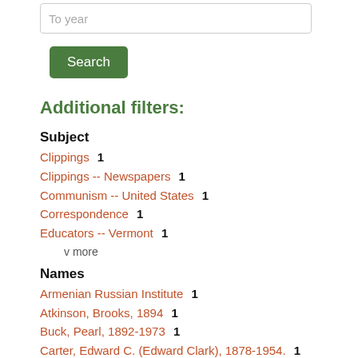To year
Search
Additional filters:
Subject
Clippings  1
Clippings -- Newspapers  1
Communism -- United States  1
Correspondence  1
Educators -- Vermont  1
v more
Names
Armenian Russian Institute  1
Atkinson, Brooks, 1894  1
Buck, Pearl, 1892-1973  1
Carter, Edward C. (Edward Clark), 1878-1954.  1
Field, Frederick Vanderbilt, 1905-  1
v more